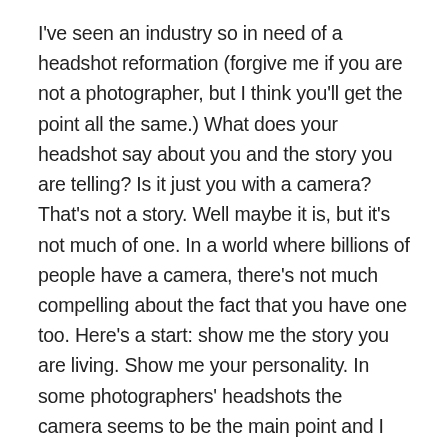I've seen an industry so in need of a headshot reformation (forgive me if you are not a photographer, but I think you'll get the point all the same.) What does your headshot say about you and the story you are telling? Is it just you with a camera? That's not a story. Well maybe it is, but it's not much of one. In a world where billions of people have a camera, there's not much compelling about the fact that you have one too. Here's a start: show me the story you are living. Show me your personality. In some photographers' headshots the camera seems to be the main point and I could, forgive the expression, give a toss about your camera. Give me something to connect to.
Who are you? What's the story you are living and the